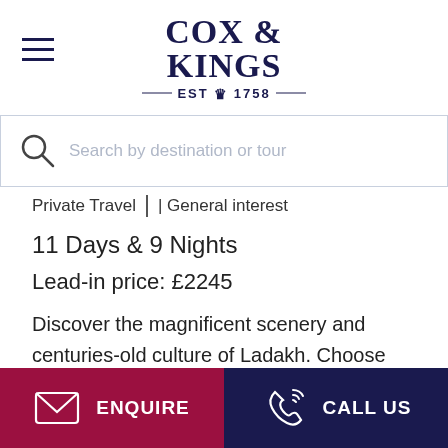COX & KINGS — EST 1758 —
Search by destination or tour
Private Travel | General interest
11 Days & 9 Nights
Lead-in price: £2245
Discover the magnificent scenery and centuries-old culture of Ladakh. Choose between Superior or Luxury accommodation and explore the monuments and ancient monasteries that continue to preserve the traditional art forms, fairs and
ENQUIRE  CALL US